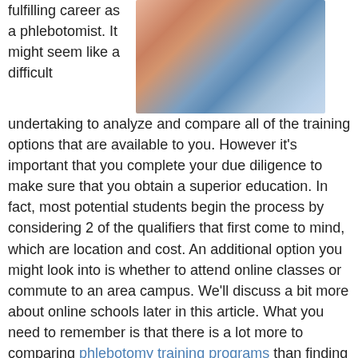[Figure (photo): Close-up photo of a phlebotomist drawing blood from a patient's arm, wearing blue gloves, with medical vials visible.]
fulfilling career as a phlebotomist. It might seem like a difficult undertaking to analyze and compare all of the training options that are available to you. However it's important that you complete your due diligence to make sure that you obtain a superior education. In fact, most potential students begin the process by considering 2 of the qualifiers that first come to mind, which are location and cost. An additional option you might look into is whether to attend online classes or commute to an area campus. We'll discuss a bit more about online schools later in this article. What you need to remember is that there is a lot more to comparing phlebotomy training programs than finding the closest or the cheapest one. Other variables such as reputation and accreditation are also important considerations and should be part of your decision process as well. To assist in that effort, we will furnish a list of questions that you should ask